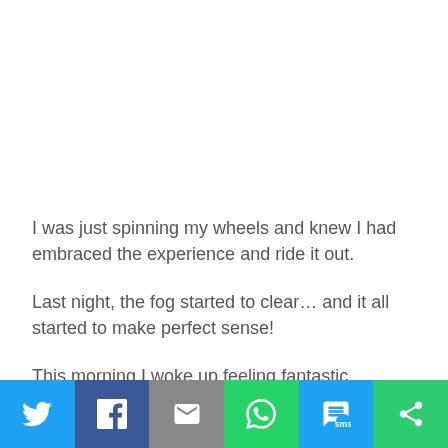I was just spinning my wheels and knew I had embraced the experience and ride it out.
Last night, the fog started to clear… and it all started to make perfect sense!
This morning I woke up feeling fantastic… clear… aligned… and GRATEFUL for that recent emotional purge.
[Figure (infographic): Social sharing bar with icons for Twitter, Facebook, Email, WhatsApp, SMS, and More (share).]